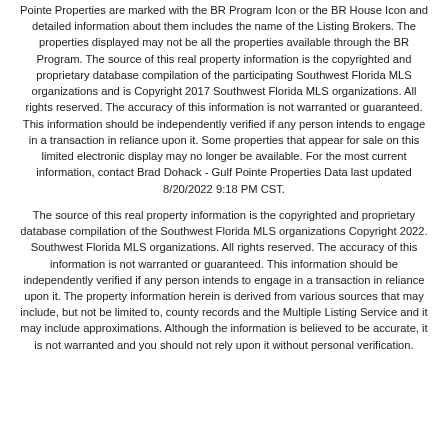Pointe Properties are marked with the BR Program Icon or the BR House Icon and detailed information about them includes the name of the Listing Brokers. The properties displayed may not be all the properties available through the BR Program. The source of this real property information is the copyrighted and proprietary database compilation of the participating Southwest Florida MLS organizations and is Copyright 2017 Southwest Florida MLS organizations. All rights reserved. The accuracy of this information is not warranted or guaranteed. This information should be independently verified if any person intends to engage in a transaction in reliance upon it. Some properties that appear for sale on this limited electronic display may no longer be available. For the most current information, contact Brad Dohack - Gulf Pointe Properties Data last updated 8/20/2022 9:18 PM CST.
The source of this real property information is the copyrighted and proprietary database compilation of the Southwest Florida MLS organizations Copyright 2022. Southwest Florida MLS organizations. All rights reserved. The accuracy of this information is not warranted or guaranteed. This information should be independently verified if any person intends to engage in a transaction in reliance upon it. The property information herein is derived from various sources that may include, but not be limited to, county records and the Multiple Listing Service and it may include approximations. Although the information is believed to be accurate, it is not warranted and you should not rely upon it without personal verification.